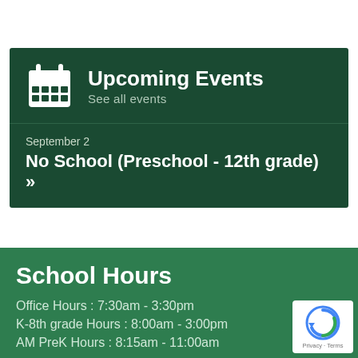[Figure (infographic): Upcoming Events banner with calendar icon, showing 'Upcoming Events / See all events' header and event listing 'September 2 / No School (Preschool - 12th grade) »' on dark green background]
School Hours
Office Hours : 7:30am - 3:30pm
K-8th grade Hours : 8:00am - 3:00pm
AM PreK Hours : 8:15am - 11:00am